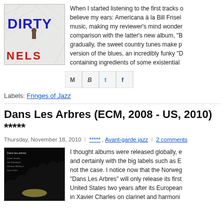[Figure (photo): Album cover for 'Dirty Nels' with blue DIRTY text and red NELS text on white crumpled paper background]
When I started listening to the first tracks of believe my ears: Americana à la Bill Frisel music, making my reviewer's mind wonder comparison with the latter's new album, "B gradually, the sweet country tunes make p version of the blues, an incredibly funky "D containing ingredients of some existential
Labels: Fringes of Jazz
Dans Les Arbres (ECM, 2008 - US, 2010) *****
Thursday, November 18, 2010  ⁞  *****  Avant-garde jazz  ⁞  2 comments
[Figure (photo): Dark album cover for 'Dans les arbres' with mountain/landscape silhouette and text listing artist names]
I thought albums were released globally, e and certainly with the big labels such as E not the case. I notice now that the Norweg "Dans Les Arbres" will only release its first United States two years after its European in Xavier Charles on clarinet and harmoni